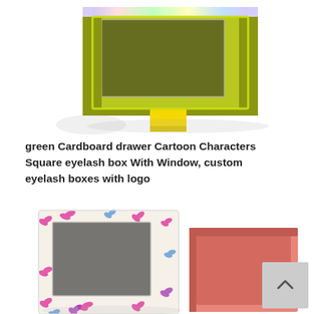[Figure (photo): Product photo of a green cardboard drawer-style eyelash box with a transparent window on top and a yellow pull tab, viewed from above on a white background. Small shadow/overlay visible in lower left.]
green Cardboard drawer Cartoon Characters Square eyelash box With Window, custom eyelash boxes with logo
[Figure (photo): Product photo of a butterfly-patterned eyelash box with an open lid showing a dark interior tray, alongside a pink open drawer tray, viewed from above on a white background. A grey scroll-to-top button with an upward chevron is visible in the bottom-right corner.]